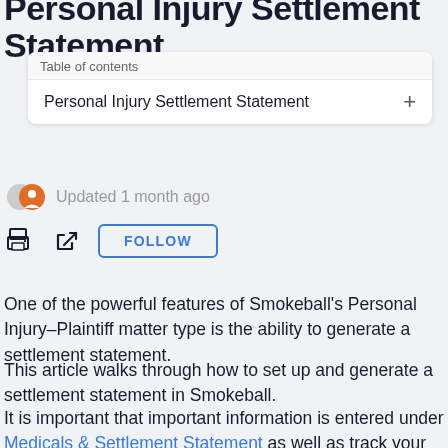Personal Injury Settlement Statement
Table of contents
Personal Injury Settlement Statement
Updated 1 month ago
FOLLOW
One of the powerful features of Smokeball's Personal Injury-Plaintiff matter type is the ability to generate a settlement statement.
This article walks through how to set up and generate a settlement statement in Smokeball.
It is important that important information is entered under Medicals & Settlement Statement as well as track your firm costs (expenses).